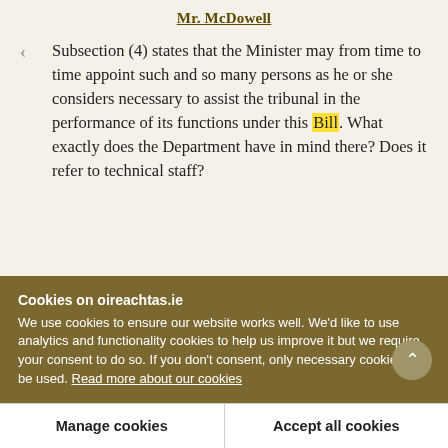Mr. McDowell
Subsection (4) states that the Minister may from time to time appoint such and so many persons as he or she considers necessary to assist the tribunal in the performance of its functions under this Bill. What exactly does the Department have in mind there? Does it refer to technical staff?
Cookies on oireachtas.ie
We use cookies to ensure our website works well. We'd like to use analytics and functionality cookies to help us improve it but we require your consent to do so. If you don't consent, only necessary cookies will be used. Read more about our cookies
Manage cookies
Accept all cookies